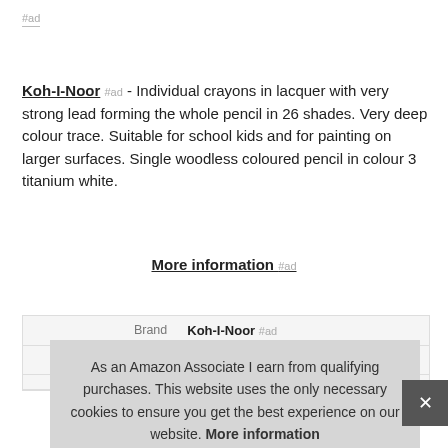#ad
Koh-I-Noor #ad - Individual crayons in lacquer with very strong lead forming the whole pencil in 26 shades. Very deep colour trace. Suitable for school kids and for painting on larger surfaces. Single woodless coloured pencil in colour 3 titanium white.
More information #ad
| Brand |  |
| --- | --- |
| Brand | Koh-I-Noor #ad |
| Ma |  |
As an Amazon Associate I earn from qualifying purchases. This website uses the only necessary cookies to ensure you get the best experience on our website. More information